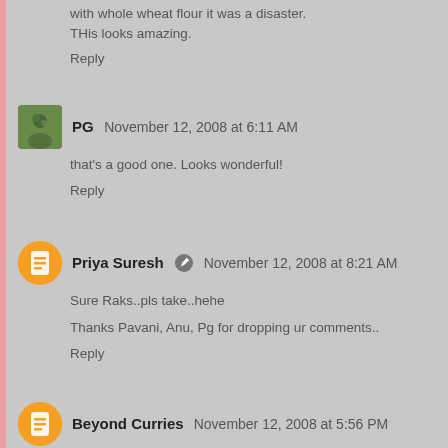with whole wheat flour it was a disaster. THis looks amazing.
Reply
PG  November 12, 2008 at 6:11 AM
that's a good one. Looks wonderful!
Reply
Priya Suresh  November 12, 2008 at 8:21 AM
Sure Raks..pls take..hehe
Thanks Pavani, Anu, Pg for dropping ur comments..
Reply
Beyond Curries  November 12, 2008 at 5:56 PM
Interesting recipe Priya, eggless too. I think you have written lukewarm water twice, instead of luke warm